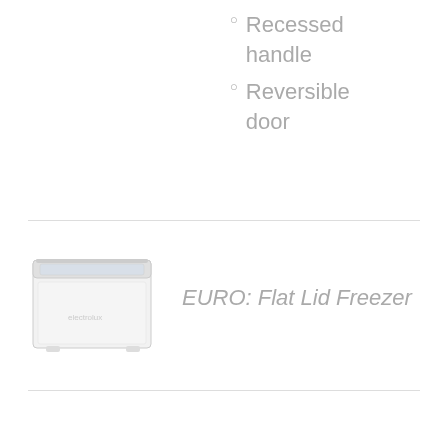Recessed handle
Reversible door
[Figure (photo): White chest freezer with flat glass lid, front view, small appliance product image]
EURO: Flat Lid Freezer